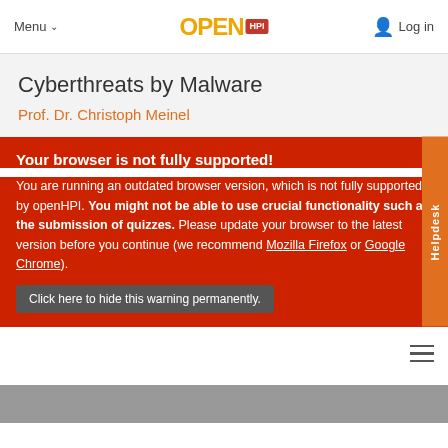Menu ∨   OPEN HPI   Log in
Cyberthreats by Malware
Prof. Dr. Christoph Meinel
Your browser is not fully supported!
You are running an outdated browser version, which is not fully supported by openHPI. You might not be able to use crucial functionality such as the submission of quizzes. Please update your browser to the latest version before you continue (we recommend Mozilla Firefox or Google Chrome).
Click here to hide this warning permanently.